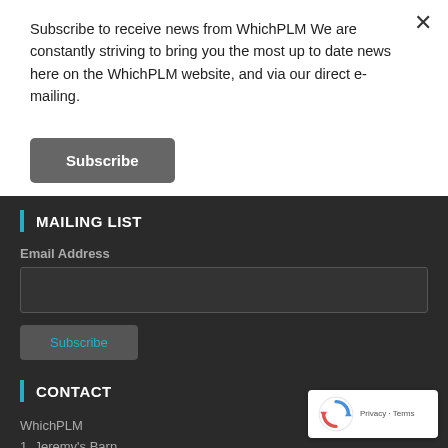Subscribe to receive news from WhichPLM We are constantly striving to bring you the most up to date news here on the WhichPLM website, and via our direct e-mailing.
Subscribe
MAILING LIST
Email Address
Subscribe
CONTACT
WhichPLM
1, Jeremy's Barn
Lily Lanes
Ashton-under-Lyne
OL6 9AF